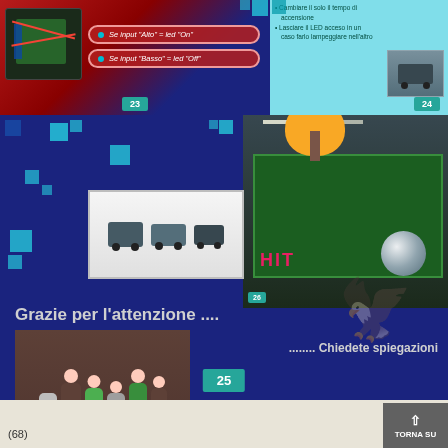[Figure (screenshot): Slide 23: Arduino board with red background and two oval text boxes reading 'Se input "Alto" = led "On"' and 'Se input "Basso" = led "Off"', number 23 at bottom]
[Figure (screenshot): Slide 24: Cyan/teal background with Italian text about LED timing, small robot image, number 24 at bottom]
[Figure (screenshot): Large slide: Left panel dark blue with decorative teal squares, small robot cars photo, text 'Grazie per l'attenzione ....', group photo of students. Right panel: large robot photo from exhibition. Text '........ Chiedete spiegazioni', slide number 25, griffin watermark]
(68)